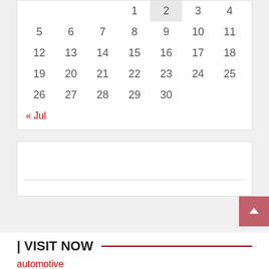|  |  |  | 1 | 2 | 3 | 4 |
| 5 | 6 | 7 | 8 | 9 | 10 | 11 |
| 12 | 13 | 14 | 15 | 16 | 17 | 18 |
| 19 | 20 | 21 | 22 | 23 | 24 | 25 |
| 26 | 27 | 28 | 29 | 30 |  |  |
« Jul
[Figure (other): White box with horizontal divider line inside]
[Figure (other): Scroll to top button with upward arrow, pink/red background]
| VISIT NOW
automotive